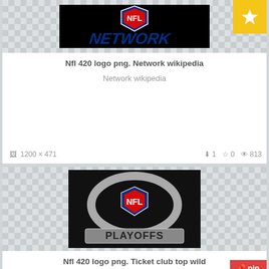[Figure (logo): NFL Network logo on black background with blue italic NETWORK text]
Nfl 420 logo png. Network wikipedia
Network wikipedia
1200 x 471  ↓1  ☆0  👁 813
[Figure (logo): NFL Playoffs logo — silver football oval with NFL shield inside, PLAYOFFS text below on dark background]
Nfl 420 logo png. Ticket club top wild
NFL Playoffs logo. Ticket club top wild